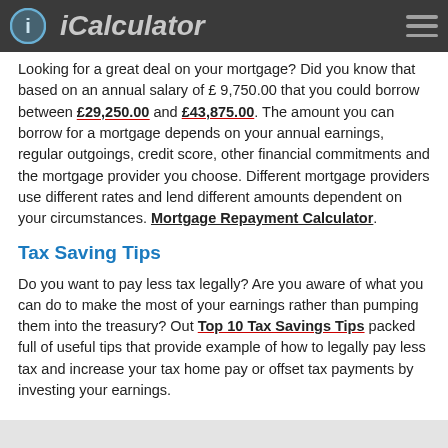iCalculator
Looking for a great deal on your mortgage? Did you know that based on an annual salary of £ 9,750.00 that you could borrow between £29,250.00 and £43,875.00. The amount you can borrow for a mortgage depends on your annual earnings, regular outgoings, credit score, other financial commitments and the mortgage provider you choose. Different mortgage providers use different rates and lend different amounts dependent on your circumstances. Mortgage Repayment Calculator.
Tax Saving Tips
Do you want to pay less tax legally? Are you aware of what you can do to make the most of your earnings rather than pumping them into the treasury? Out Top 10 Tax Savings Tips packed full of useful tips that provide example of how to legally pay less tax and increase your tax home pay or offset tax payments by investing your earnings.